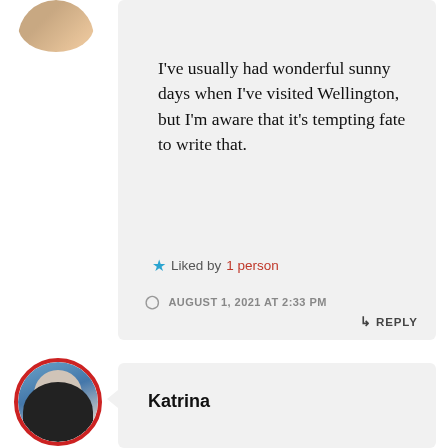I've usually had wonderful sunny days when I've visited Wellington, but I'm aware that it's tempting fate to write that.
★ Liked by 1 person
AUGUST 1, 2021 AT 2:33 PM
↳ REPLY
Katrina